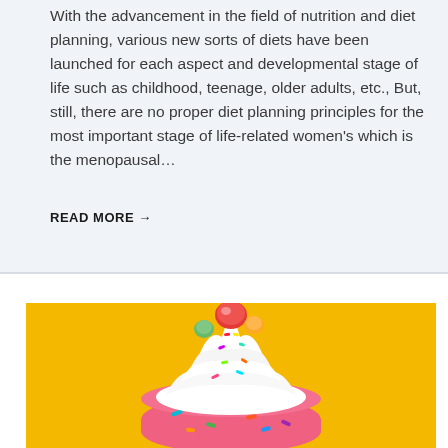With the advancement in the field of nutrition and diet planning, various new sorts of diets have been launched for each aspect and developmental stage of life such as childhood, teenage, older adults, etc., But, still, there are no proper diet planning principles for the most important stage of life-related women's which is the menopausal…
READ MORE →
[Figure (photo): A colorful cupcake/donut piled high with white whipped cream frosting, rainbow sprinkles, and candy toppings on a bright yellow/orange background]